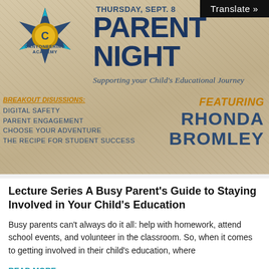Translate »
[Figure (infographic): Canyoneering Academy Parent Night event banner. Thursday, Sept. 8, 6-8:30 P.M. Large text: PARENT NIGHT. Supporting your Child's Educational Journey. Breakout Discussions: Digital Safety, Parent Engagement, Choose Your Adventure, The Recipe for Student Success. Featuring Rhonda Bromley. Logo of Canyoneering Academy with star/compass design.]
Lecture Series A Busy Parent's Guide to Staying Involved in Your Child's Education
Busy parents can't always do it all: help with homework, attend school events, and volunteer in the classroom. So, when it comes to getting involved in their child's education, where
READ MORE »